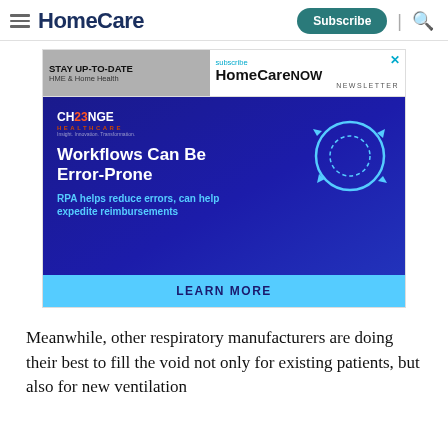HomeCare — Subscribe
[Figure (screenshot): Advertisement for Change Healthcare featuring 'Workflows Can Be Error-Prone' with RPA messaging and HomeCare NOW newsletter subscription banner]
Meanwhile, other respiratory manufacturers are doing their best to fill the void not only for existing patients, but also for new ventilation